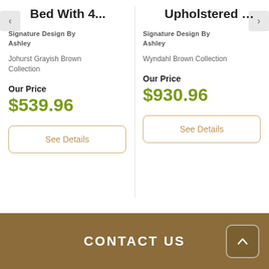Bed With 4...
Signature Design By Ashley
Johurst Grayish Brown Collection
Our Price
$539.96
See Details
Upholstered Panel...
Signature Design By Ashley
Wyndahl Brown Collection
Our Price
$930.96
See Details
CONTACT US